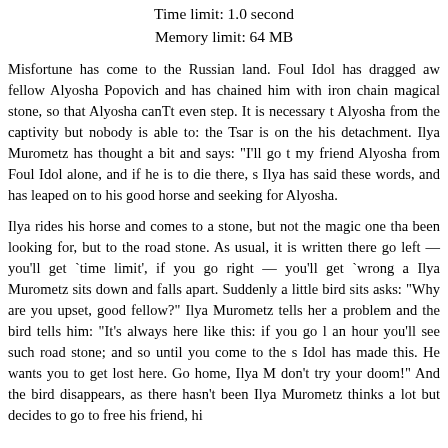Time limit: 1.0 second
Memory limit: 64 MB
Misfortune has come to the Russian land. Foul Idol has dragged away the fellow Alyosha Popovich and has chained him with iron chains to a magical stone, so that Alyosha canTt even step. It is necessary to free Alyosha from the captivity but nobody is able to: the Tsar is on the road with his detachment. Ilya Murometz has thought a bit and says: "I'll go to free my friend Alyosha from Foul Idol alone, and if he is to die there, so be it". Ilya has said these words, and has leaped on to his good horse and has gone seeking for Alyosha.
Ilya rides his horse and comes to a stone, but not the magic one that he has been looking for, but to the road stone. As usual, it is written there: if you go left — you'll get 'time limit', if you go right — you'll get 'wrong answer'. Ilya Murometz sits down and falls apart. Suddenly a little bird sits near and asks: "Why are you upset, good fellow?" Ilya Murometz tells her about his problem and the bird tells him: "It's always here like this: if you go left, in an hour you'll see such road stone; and so until you come to the stone. Foul Idol has made this. He wants you to get lost here. Go home, Ilya Murometz, don't try your doom!" And the bird disappears, as there hasn't been one. Ilya Murometz thinks a lot but decides to go to free his friend, his...